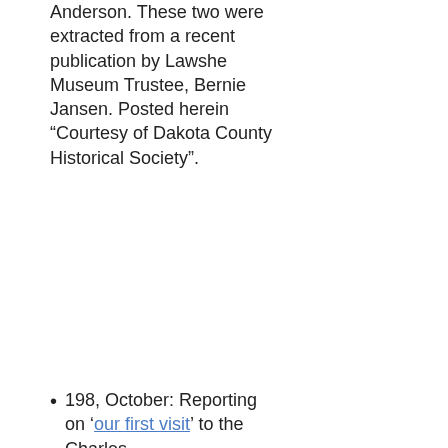Anderson. These two were extracted from a recent publication by Lawshe Museum Trustee, Bernie Jansen. Posted herein “Courtesy of Dakota County Historical Society”.
198, October: Reporting on ‘our first visit’ to the Charles